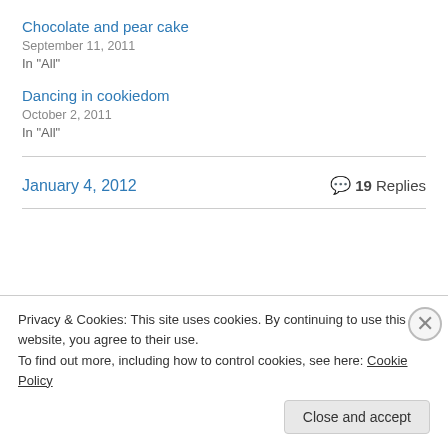Chocolate and pear cake
September 11, 2011
In "All"
Dancing in cookiedom
October 2, 2011
In "All"
January 4, 2012    19 Replies
« Previous    Next »
Privacy & Cookies: This site uses cookies. By continuing to use this website, you agree to their use.
To find out more, including how to control cookies, see here: Cookie Policy
Close and accept